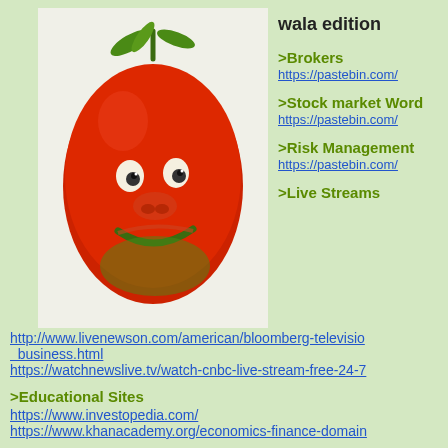[Figure (illustration): A meme image of a tomato with Pepe the Frog's face on a light beige background]
wala edition
>Brokers
https://pastebin.com/
>Stock market Word
https://pastebin.com/
>Risk Management
https://pastebin.com/
>Live Streams
http://www.livenewson.com/american/bloomberg-television-business.html
https://watchnewslive.tv/watch-cnbc-live-stream-free-24-7
>Educational Sites
https://www.investopedia.com/
https://www.khanacademy.org/economics-finance-domain
>Free Charts
http://www.tradingview.com
https://www.finscreener.com/